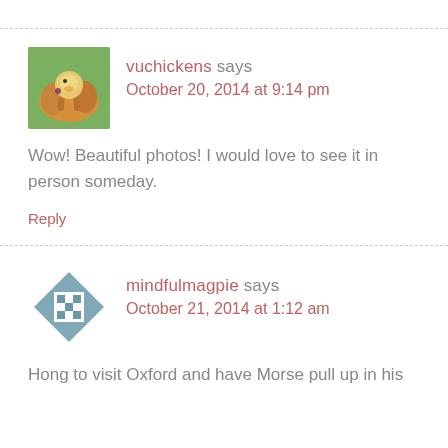[Figure (photo): Avatar image of vuchickens showing hands holding a small chick]
vuchickens says
October 20, 2014 at 9:14 pm
Wow! Beautiful photos! I would love to see it in person someday.
Reply
[Figure (illustration): Avatar icon for mindfulmagpie - geometric diamond/cross shape in teal/grey colors]
mindfulmagpie says
October 21, 2014 at 1:12 am
Hong to visit Oxford and have Morse pull up in his